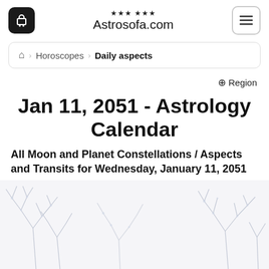Astrosofa.com
Horoscopes > Daily aspects
Region
Jan 11, 2051 - Astrology Calendar
All Moon and Planet Constellations / Aspects and Transits for Wednesday, January 11, 2051
[Figure (photo): Decorative winter background with snow-covered plant branches against a light background]